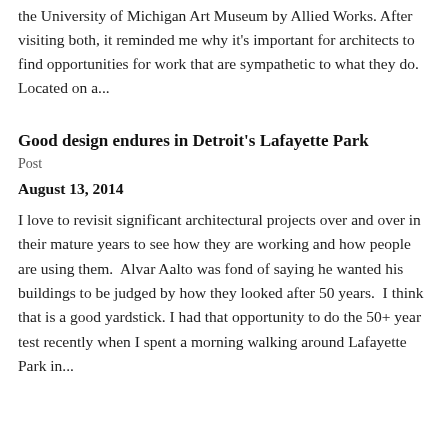the University of Michigan Art Museum by Allied Works. After visiting both, it reminded me why it's important for architects to find opportunities for work that are sympathetic to what they do. Located on a...
Good design endures in Detroit's Lafayette Park
Post
August 13, 2014
I love to revisit significant architectural projects over and over in their mature years to see how they are working and how people are using them.  Alvar Aalto was fond of saying he wanted his buildings to be judged by how they looked after 50 years.  I think that is a good yardstick. I had that opportunity to do the 50+ year test recently when I spent a morning walking around Lafayette Park in...